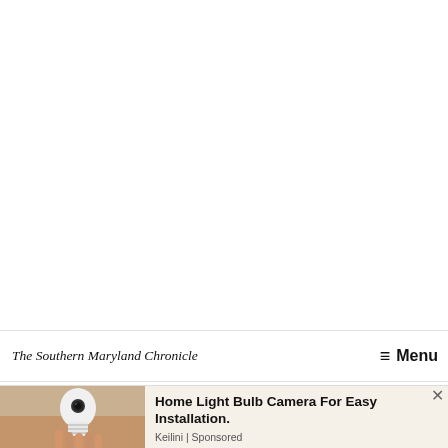The Southern Maryland Chronicle  ≡ Menu
[Figure (photo): Hand holding a white security light bulb camera]
Home Light Bulb Camera For Easy Installation.
Keilini | Sponsored